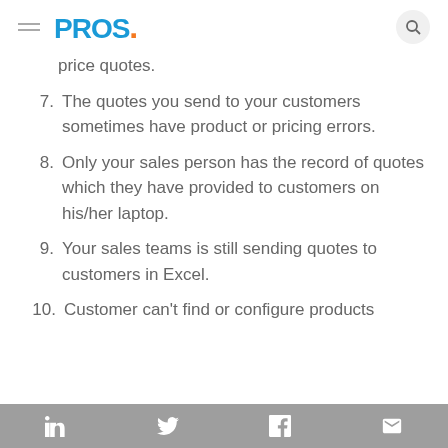PROS. [logo with navigation]
price quotes.
7. The quotes you send to your customers sometimes have product or pricing errors.
8. Only your sales person has the record of quotes which they have provided to customers on his/her laptop.
9. Your sales teams is still sending quotes to customers in Excel.
10. Customer can't find or configure products
Social share icons: LinkedIn, Twitter, Facebook, Email